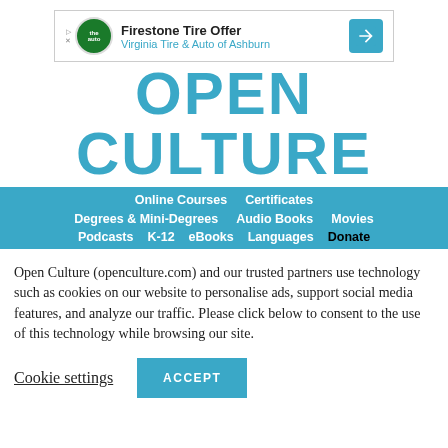[Figure (screenshot): Advertisement banner for Firestone Tire Offer at Virginia Tire & Auto of Ashburn, with logo and navigation arrow icon]
OPEN CULTURE
Online Courses  Certificates  Degrees & Mini-Degrees  Audio Books  Movies  Podcasts  K-12  eBooks  Languages  Donate
Open Culture (openculture.com) and our trusted partners use technology such as cookies on our website to personalise ads, support social media features, and analyze our traffic. Please click below to consent to the use of this technology while browsing our site.
Cookie settings  ACCEPT